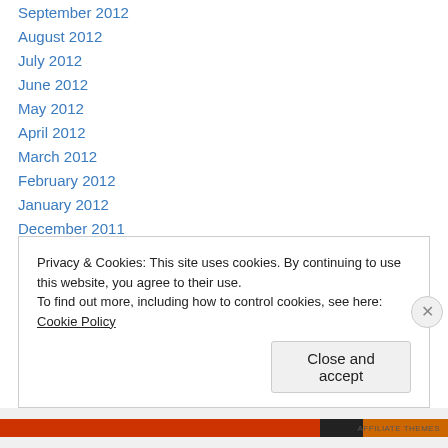September 2012
August 2012
July 2012
June 2012
May 2012
April 2012
March 2012
February 2012
January 2012
December 2011
November 2011
October 2011
September 2011
July 2011
Privacy & Cookies: This site uses cookies. By continuing to use this website, you agree to their use.
To find out more, including how to control cookies, see here: Cookie Policy
Close and accept